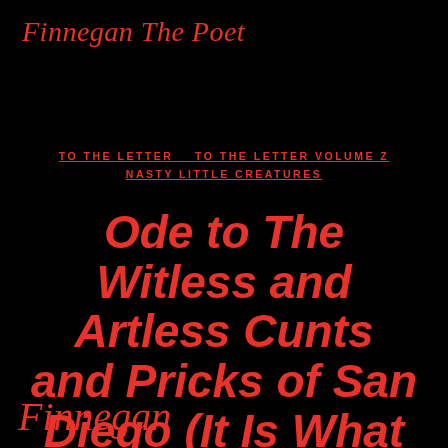Finnegan The Poet
TO THE LETTER   TO THE LETTER VOLUME Z   NASTY LITTLE CREATURES
Ode to The Witless and Artless Cunts and Pricks of San Diego (It Is What It Is)
Finnegan